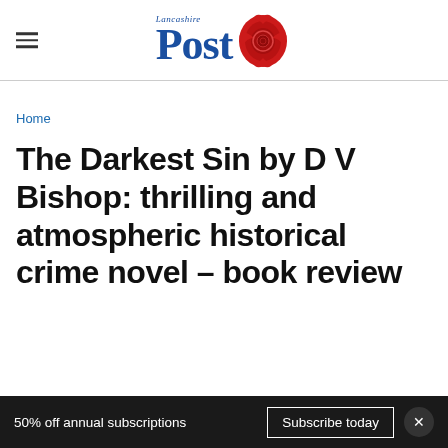Lancashire Post
Home
The Darkest Sin by D V Bishop: thrilling and atmospheric historical crime novel – book review
50% off annual subscriptions  Subscribe today